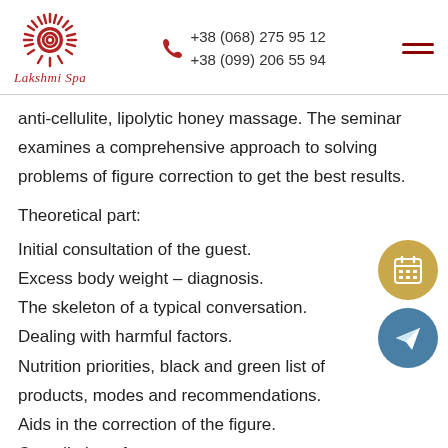Lakshmi Spa | +38 (068) 275 95 12 | +38 (099) 206 55 94
anti-cellulite, lipolytic honey massage. The seminar examines a comprehensive approach to solving problems of figure correction to get the best results.
Theoretical part:
Initial consultation of the guest.
Excess body weight – diagnosis.
The skeleton of a typical conversation.
Dealing with harmful factors.
Nutrition priorities, black and green list of products, modes and recommendations.
Aids in the correction of the figure.
Compilation of spa programs.
Recommendations and accommodations to the...